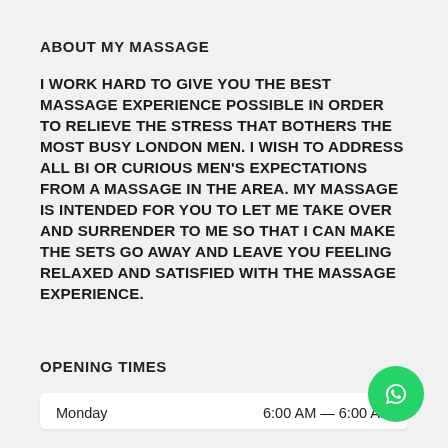ABOUT MY MASSAGE
I WORK HARD TO GIVE YOU THE BEST MASSAGE EXPERIENCE POSSIBLE IN ORDER TO RELIEVE THE STRESS THAT BOTHERS THE MOST BUSY LONDON MEN. I WISH TO ADDRESS ALL BI OR CURIOUS MEN'S EXPECTATIONS FROM A MASSAGE IN THE AREA. MY MASSAGE IS INTENDED FOR YOU TO LET ME TAKE OVER AND SURRENDER TO ME SO THAT I CAN MAKE THE SETS GO AWAY AND LEAVE YOU FEELING RELAXED AND SATISFIED WITH THE MASSAGE EXPERIENCE.
OPENING TIMES
| Day | Hours |
| --- | --- |
| Monday | 6:00 AM — 6:00 AM |
[Figure (other): WhatsApp contact button (green circle with WhatsApp phone icon)]